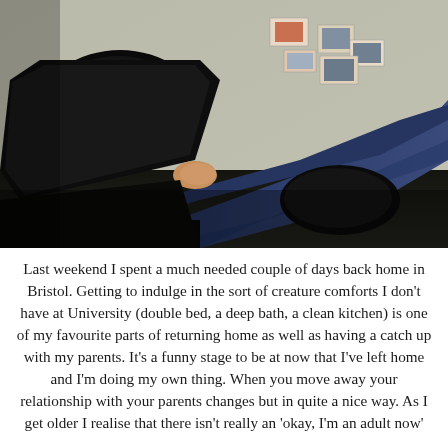[Figure (photo): A person lying down with legs raised, wearing dark boots and blue jeans. The sole of one boot faces the camera. In the background is a light-colored wall with several photos/postcards pinned to it.]
Last weekend I spent a much needed couple of days back home in Bristol. Getting to indulge in the sort of creature comforts I don't have at University (double bed, a deep bath, a clean kitchen) is one of my favourite parts of returning home as well as having a catch up with my parents. It's a funny stage to be at now that I've left home and I'm doing my own thing. When you move away your relationship with your parents changes but in quite a nice way. As I get older I realise that there isn't really an 'okay, I'm an adult now'